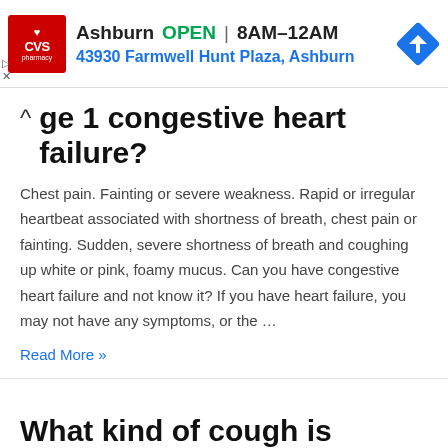[Figure (screenshot): CVS Pharmacy advertisement banner showing Ashburn location, OPEN 8AM-12AM, address 43930 Farmwell Hunt Plaza Ashburn, with CVS logo and navigation arrow icon]
...ge 1 congestive heart failure?
Chest pain. Fainting or severe weakness. Rapid or irregular heartbeat associated with shortness of breath, chest pain or fainting. Sudden, severe shortness of breath and coughing up white or pink, foamy mucus. Can you have congestive heart failure and not know it? If you have heart failure, you may not have any symptoms, or the …
Read More »
What kind of cough is